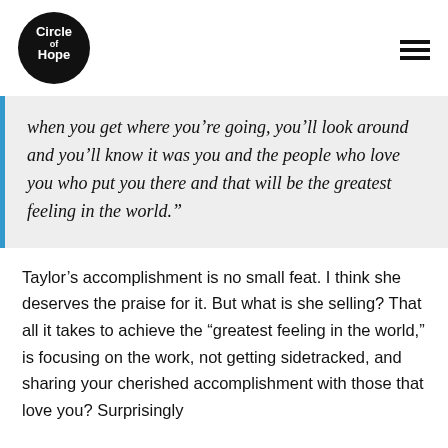[Figure (logo): Circle of Hope logo — black circle with white text reading 'Circle of Hope']
when you get where you’re going, you’ll look around and you’ll know it was you and the people who love you who put you there and that will be the greatest feeling in the world.”
Taylor’s accomplishment is no small feat. I think she deserves the praise for it. But what is she selling? That all it takes to achieve the “greatest feeling in the world,” is focusing on the work, not getting sidetracked, and sharing your cherished accomplishment with those that love you? Surprisingly